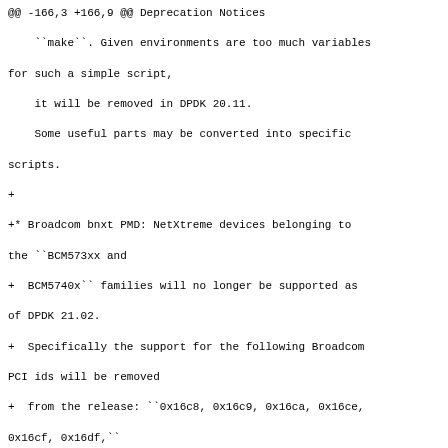@@ -166,3 +166,9 @@ Deprecation Notices
    ``make``. Given environments are too much variables for such a simple script,
    it will be removed in DPDK 20.11.
    Some useful parts may be converted into specific scripts.
+
+* Broadcom bnxt PMD: NetXtreme devices belonging to the ``BCM573xx and
+  BCM5740x`` families will no longer be supported as of DPDK 21.02.
+  Specifically the support for the following Broadcom PCI ids will be removed
+  from the release: ``0x16c8, 0x16c9, 0x16ca, 0x16ce, 0x16cf, 0x16df,``
+  ``0x16d0, 0x16d1, 0x16d2, 0x16d4, 0x16d5, 0x16e7, 0x16e8, 0x16e9``.
--
2.21.1 (Apple Git-122.3)
^ permalink raw reply [flat|nested] 12+ messages in thread
* Re: [dpdk-dev] [PATCH] doc: announce end of support for some Broadcom devices
2020-10-26 21:46 [dpdk-dev] [PATCH] doc: announce end of support for some Broadcom devices
Ajit Khaparde
@ 2020-11-03 10:50 ` Kevin Traynor